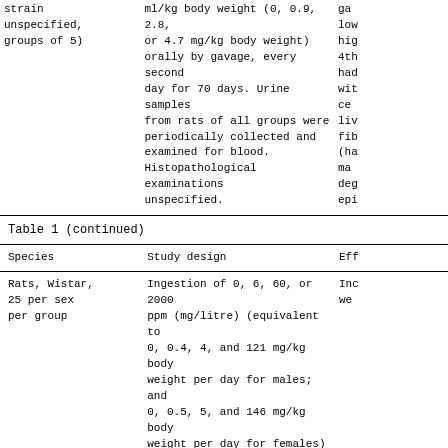| Species | Study design | Eff... |
| --- | --- | --- |
| strain unspecified, groups of 5) | ml/kg body weight (0, 0.9, 2.8, or 4.7 mg/kg body weight) orally by gavage, every second day for 70 days. Urine samples from rats of all groups were periodically collected and examined for blood. Histopathological examinations unspecified. | ga low hig 4th had wit ce li fi (ha ma deg epi |
| Rats, Wistar, 25 per sex per group | Ingestion of 0, 6, 60, or 2000 ppm (mg/litre) (equivalent to 0, 0.4, 4, and 121 mg/kg body weight per day for males; and 0, 0.5, 5, and 146 mg/kg body weight per day for females) methyl methacrylate in | Inc we |
Table 1 (continued)